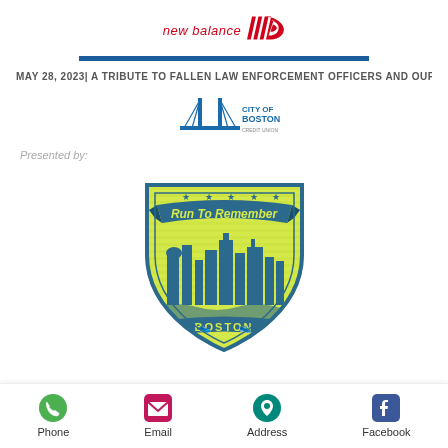[Figure (logo): New Balance logo with red italic text 'new balance' and the NB swoosh icon in red]
MAY 28, 2023| A TRIBUTE TO FALLEN LAW ENFORCEMENT OFFICERS AND OUR FIRST RESPON
[Figure (logo): City of Boston Credit Union logo with Zakim Bridge illustration]
Presented by:
[Figure (logo): Run To Remember Boston logo - shield shape with green background, teal Boston skyline silhouette, stars, and banner text 'Run To Remember' with 'BOSTON' at bottom]
Phone
Email
Address
Facebook